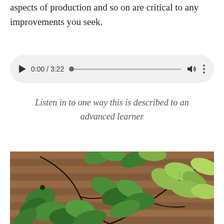aspects of production and so on are critical to any improvements you seek.
[Figure (other): Audio player widget showing 0:00 / 3:22 with play button, progress bar, volume icon, and more options icon]
Listen in to one way this is described to an advanced learner
[Figure (photo): Photograph of green leafy branches arranged over a wooden slatted background]